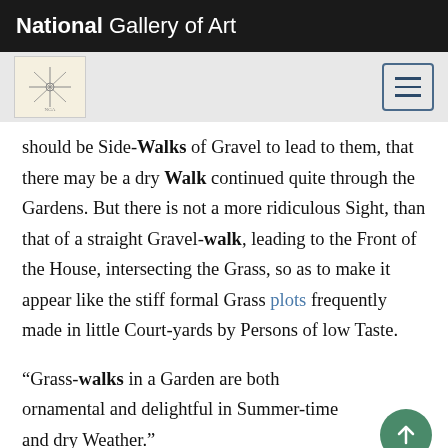National Gallery of Art
should be Side-Walks of Gravel to lead to them, that there may be a dry Walk continued quite through the Gardens. But there is not a more ridiculous Sight, than that of a straight Gravel-walk, leading to the Front of the House, intersecting the Grass, so as to make it appear like the stiff formal Grass plots frequently made in little Court-yards by Persons of low Taste.
“Grass-walks in a Garden are both ornamental and delightful in Summer-time and dry Weather.”